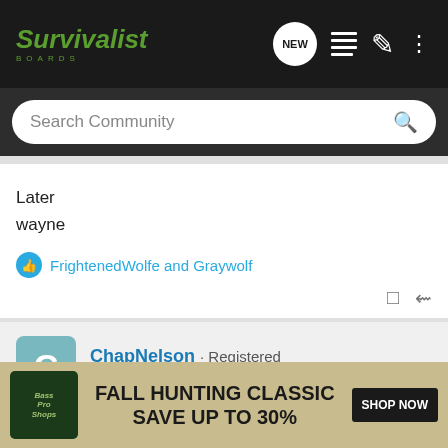Survivalist Boards — Search Community header
Later
wayne
FrightenedWolfe and Graywolf
ChapNelson · Registered
Joined Aug 30, 2009 · 2,832 Posts
#4 · Apr 7, 2010
Read an article in Popular Science about testing electronics ... ter of the brain ... rticular
[Figure (screenshot): Bass Pro Shops Fall Hunting Classic Save Up To 30% Shop Now advertisement banner]